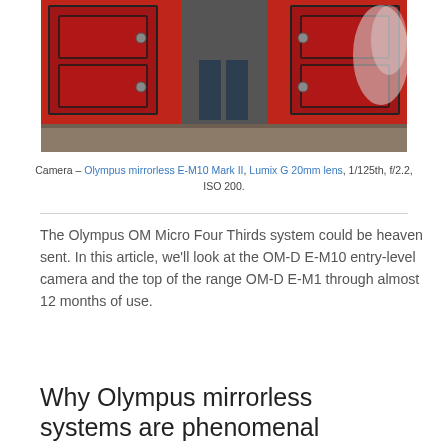[Figure (photo): A person standing in front of a red vintage train carriage on a station platform, with steam visible on the right side.]
Camera – Olympus mirrorless E-M10 Mark II, Lumix G 20mm lens, 1/125th, f/2.2, ISO 200.
The Olympus OM Micro Four Thirds system could be heaven sent. In this article, we'll look at the OM-D E-M10 entry-level camera and the top of the range OM-D E-M1 through almost 12 months of use.
Why Olympus mirrorless systems are phenomenal